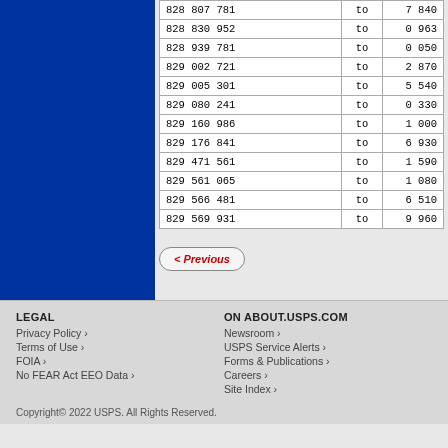|  | to |  |
| --- | --- | --- |
| 828 807 781 | to | 7 840 |
| 828 830 952 | to | 0 963 |
| 828 939 781 | to | 0 050 |
| 829 002 721 | to | 2 870 |
| 829 005 301 | to | 5 540 |
| 829 080 241 | to | 0 330 |
| 829 160 986 | to | 1 000 |
| 829 176 841 | to | 6 930 |
| 829 471 561 | to | 1 590 |
| 829 561 065 | to | 1 080 |
| 829 566 481 | to | 6 510 |
| 829 569 931 | to | 9 960 |
< Previous
LEGAL
Privacy Policy ›
Terms of Use ›
FOIA ›
No FEAR Act EEO Data ›

ON ABOUT.USPS.COM
Newsroom ›
USPS Service Alerts ›
Forms & Publications ›
Careers ›
Site Index ›

Copyright© 2022 USPS. All Rights Reserved.